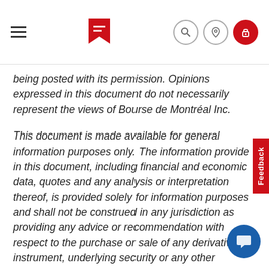Navigation bar with hamburger menu, Bourse de Montréal logo, search, location, and login icons
being posted with its permission. Opinions expressed in this document do not necessarily represent the views of Bourse de Montréal Inc.
This document is made available for general information purposes only. The information provided in this document, including financial and economic data, quotes and any analysis or interpretation thereof, is provided solely for information purposes and shall not be construed in any jurisdiction as providing any advice or recommendation with respect to the purchase or sale of any derivative instrument, underlying security or any other financial instrument or as providing legal, accounting, tax, financial or investment advice. Bourse de Montréal Inc. recommends that you consult your own advisors